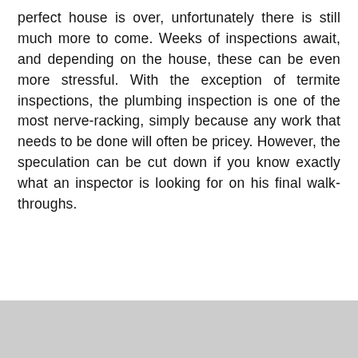perfect house is over, unfortunately there is still much more to come. Weeks of inspections await, and depending on the house, these can be even more stressful. With the exception of termite inspections, the plumbing inspection is one of the most nerve-racking, simply because any work that needs to be done will often be pricey. However, the speculation can be cut down if you know exactly what an inspector is looking for on his final walk-throughs.